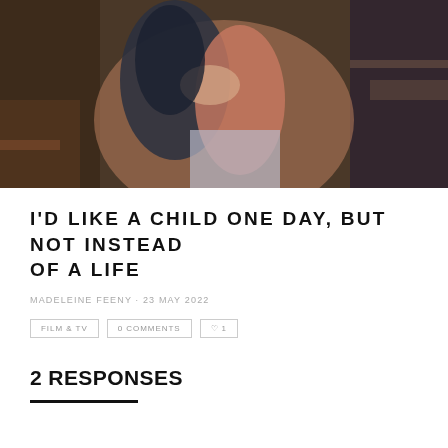[Figure (photo): Two women embracing/hugging indoors, one wearing a pink top and plaid skirt, photographed from behind in a vintage-looking interior setting.]
I'D LIKE A CHILD ONE DAY, BUT NOT INSTEAD OF A LIFE
MADELEINE FEENY · 23 MAY 2022
FILM & TV   0 COMMENTS   ♡ 1
2 RESPONSES